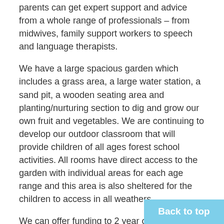parents can get expert support and advice from a whole range of professionals – from midwives, family support workers to speech and language therapists.
We have a large spacious garden which includes a grass area, a large water station, a sand pit, a wooden seating area and planting/nurturing section to dig and grow our own fruit and vegetables. We are continuing to develop our outdoor classroom that will provide children of all ages forest school activities. All rooms have direct access to the garden with individual areas for each age range and this area is also sheltered for the children to access in all weathers.
We can offer funding to 2 year olds in Coventry eligible to 15 hours a week for 38 weeks of the year - very similar to the three school terms.
To qualify for a 2 year old funding code you must